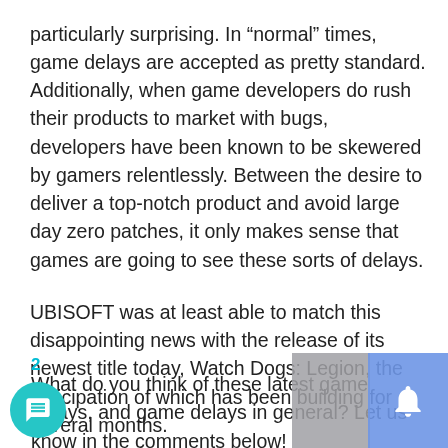particularly surprising. In “normal” times, game delays are accepted as pretty standard. Additionally, when game developers do rush their products to market with bugs, developers have been known to be skewered by gamers relentlessly. Between the desire to deliver a top-notch product and avoid large day zero patches, it only makes sense that games are going to see these sorts of delays.
UBISOFT was at least able to match this disappointing news with the release of its newest title today, Watch Dogs: Legion, the anticipation of which has been building for several months.
2
What do you think of these latest game delays, and game delays in general? Let us know in the comments below!